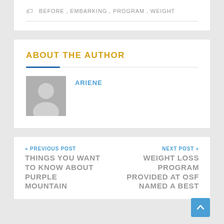BEFORE, EMBARKING, PROGRAM, WEIGHT
ABOUT THE AUTHOR
ARIENE
« PREVIOUS POST
THINGS YOU WANT TO KNOW ABOUT PURPLE MOUNTAIN
NEXT POST »
WEIGHT LOSS PROGRAM PROVIDED AT OSF NAMED A BEST